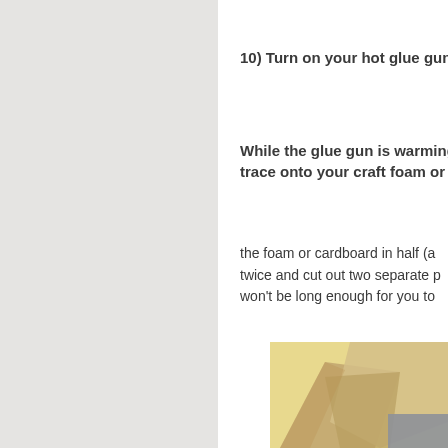10) Turn on your hot glue gun
While the glue gun is warming, trace onto your craft foam or cardboard the foam or cardboard in half (a twice and cut out two separate pieces won't be long enough for you to
[Figure (photo): Photo showing craft foam or cardboard pieces on a yellow/tan background, with grey foam pieces visible]